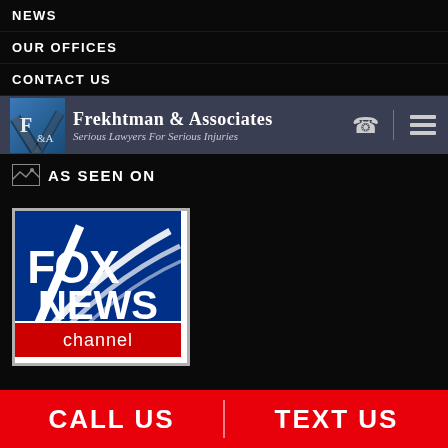NEWS
OUR OFFICES
CONTACT US
[Figure (logo): Frekhtman & Associates law firm logo with F&A icon and text 'Serious Lawyers For Serious Injuries']
AS SEEN ON
[Figure (logo): Fox News Channel logo on blue and red background]
CALL US
TEXT US